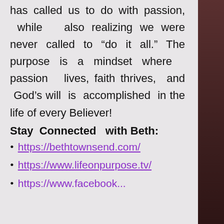has called us to do with passion, while also realizing we were never called to “do it all.” The purpose is a mindset where passion lives, faith thrives, and God’s will is accomplished in the life of every Believer!
Stay Connected with Beth:
https://bethtownsend.com/
https://www.lifeonpurpose.tv/
https://www.facebook...